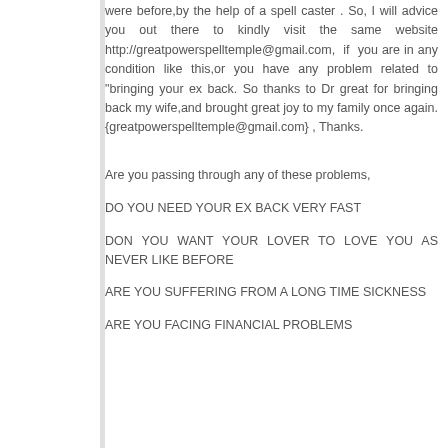were before,by the help of a spell caster . So, I will advice you out there to kindly visit the same website http://greatpowerspelltemple@gmail.com, if you are in any condition like this,or you have any problem related to "bringing your ex back. So thanks to Dr great for bringing back my wife,and brought great joy to my family once again. {greatpowerspelltemple@gmail.com} , Thanks.
Are you passing through any of these problems,
DO YOU NEED YOUR EX BACK VERY FAST
DON YOU WANT YOUR LOVER TO LOVE YOU AS NEVER LIKE BEFORE
ARE YOU SUFFERING FROM A LONG TIME SICKNESS
ARE YOU FACING FINANCIAL PROBLEMS